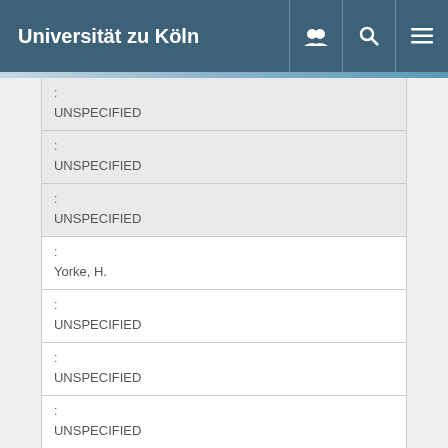Universität zu Köln
| : | UNSPECIFIED |
| : | UNSPECIFIED |
| : | UNSPECIFIED |
| : | Yorke, H. |
| : | UNSPECIFIED |
| : | UNSPECIFIED |
| : | UNSPECIFIED |